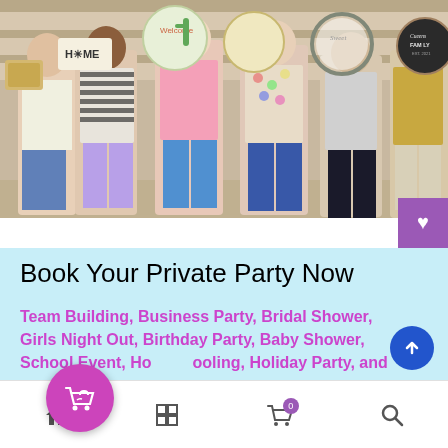[Figure (photo): Group photo of five women standing in a craft store, each holding a decorative craft item they made. Items include a HOME sign, a cactus welcome sign, a round decorated piece, a round hoop with script lettering, and a round chalkboard sign. Store shelves visible in background.]
Book Your Private Party Now
Team Building, Business Party, Bridal Shower, Girls Night Out, Birthday Party, Baby Shower, School Event, Homeschooling, Holiday Party, and so much more.
Home | Grid | Cart (0) | Search